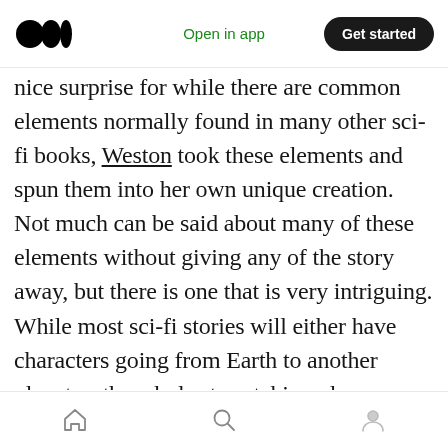Open in app | Get started
nice surprise for while there are common elements normally found in many other sci-fi books, Weston took these elements and spun them into her own unique creation. Not much can be said about many of these elements without giving any of the story away, but there is one that is very intriguing. While most sci-fi stories will either have characters going from Earth to another planet or the whole story taking place on other planets, Weston’s story is the other way around. Weston took this concept and had fun with it as Earth is alien to her
Home | Search | Profile